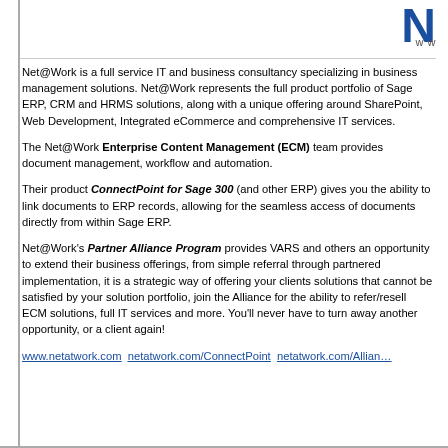[Figure (logo): Net@Work logo - large blue N letter and www URL text in top right corner]
Net@Work is a full service IT and business consultancy specializing in business management solutions. Net@Work represents the full product portfolio of Sage ERP, CRM and HRMS solutions, along with a unique offering around SharePoint, Web Development, Integrated eCommerce and comprehensive IT services.
The Net@Work Enterprise Content Management (ECM) team provides document management, workflow and automation.
Their product ConnectPoint for Sage 300 (and other ERP) gives you the ability to link documents to ERP records, allowing for the seamless access of documents directly from within Sage ERP.
Net@Work's Partner Alliance Program provides VARS and others an opportunity to extend their business offerings, from simple referral through partnered implementation, it is a strategic way of offering your clients solutions that cannot be satisfied by your solution portfolio, join the Alliance for the ability to refer/resell ECM solutions, full IT services and more. You'll never have to turn away another opportunity, or a client again!
www.netatwork.com  netatwork.com/ConnectPoint  netatwork.com/Alliance